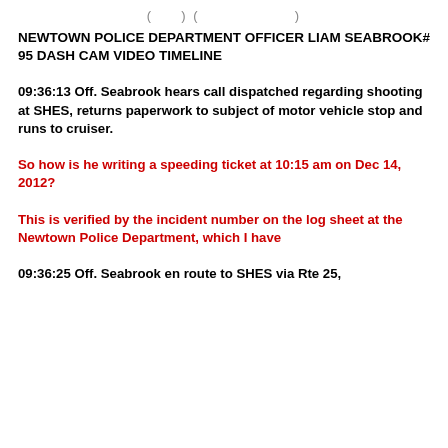( ) ( )
NEWTOWN POLICE DEPARTMENT OFFICER LIAM SEABROOK# 95 DASH CAM VIDEO TIMELINE
09:36:13 Off. Seabrook hears call dispatched regarding shooting at SHES, returns paperwork to subject of motor vehicle stop and runs to cruiser.
So how is he writing a speeding ticket at 10:15 am on Dec 14, 2012?
This is verified by the incident number on the log sheet at the Newtown Police Department, which I have
09:36:25 Off. Seabrook en route to SHES via Rte 25,